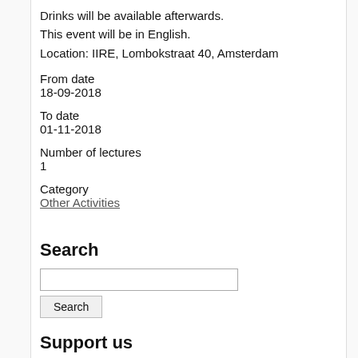Drinks will be available afterwards.
This event will be in English.
Location: IIRE, Lombokstraat 40, Amsterdam
From date
18-09-2018
To date
01-11-2018
Number of lectures
1
Category
Other Activities
Search
Support us
[Figure (illustration): Donate! text in large red bold italic font]